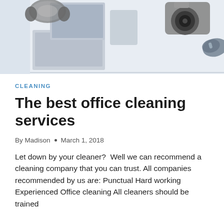[Figure (photo): Top-down view of office desk with laptop, camera, headphones, and computer mouse on light blue/white surface]
CLEANING
The best office cleaning services
By Madison • March 1, 2018
Let down by your cleaner?  Well we can recommend a cleaning company that you can trust. All companies recommended by us are: Punctual Hard working Experienced Office cleaning All cleaners should be trained